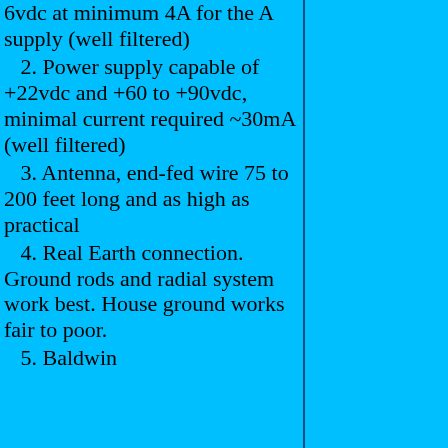6vdc at minimum 4A for the A supply (well filtered)
2. Power supply capable of +22vdc and +60 to +90vdc, minimal current required ~30mA (well filtered)
3. Antenna, end-fed wire 75 to 200 feet long and as high as practical
4. Real Earth connection. Ground rods and radial system work best. House ground works fair to poor.
5. Baldwin
Operating the Kennedy Receivers with